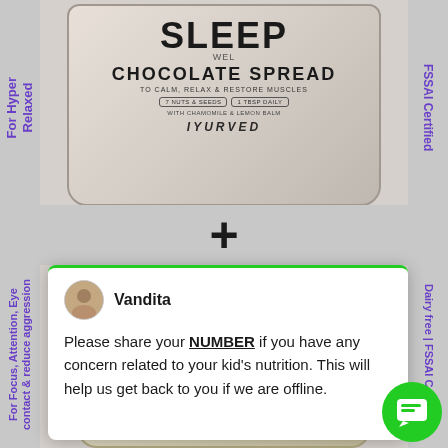[Figure (photo): IYURVED Sleep Chocolate Spread jar product image - top section]
For Hyper Relaxed (vertical left text top)
FSSAI Certified (vertical right text top)
[Figure (other): Plus sign separator between two products]
For Focus, Attention, Eye contact & reduce aggression (vertical left text bottom)
Dairy free | FSSAI Certified (vertical right text bottom)
[Figure (screenshot): Chat popup from Vandita: Please share your NUMBER if you have any concern related to your kid's nutrition. This will help us get back to you if we are offline.]
[Figure (photo): IYURVED Chocolate Spread jar for Memory, Focus, Contains Omega 3 - bottom section]
[Figure (other): Green chat button icon in bottom right corner]